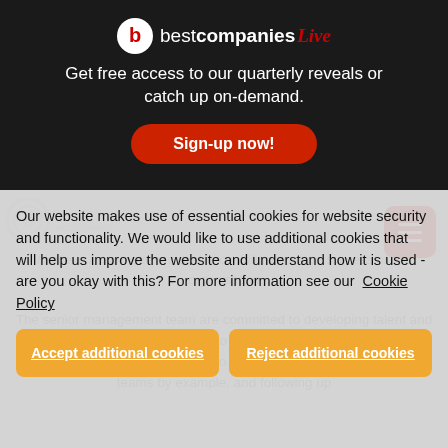[Figure (logo): Best Companies Live logo with red circular b icon and stylized text]
Get free access to our quarterly reveals or catch up on-demand.
Sign-up now!
Our website makes use of essential cookies for website security and functionality. We would like to use additional cookies that will help us improve the website and understand how it is used - are you okay with this? For more information see our Cookie Policy
Accept additional cookies
Reject additional cookies
The senior management team are committed to developing talent and encouraging their colleagues to be the best they can be. They demonstrate their commitment to the 'EnviroVent Way' by leading teams by example, and following up
I believe I can make a valuable contribution to the success of this organisation